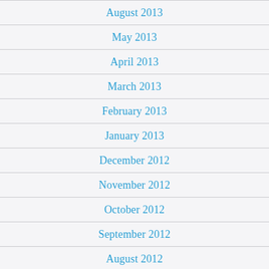August 2013
May 2013
April 2013
March 2013
February 2013
January 2013
December 2012
November 2012
October 2012
September 2012
August 2012